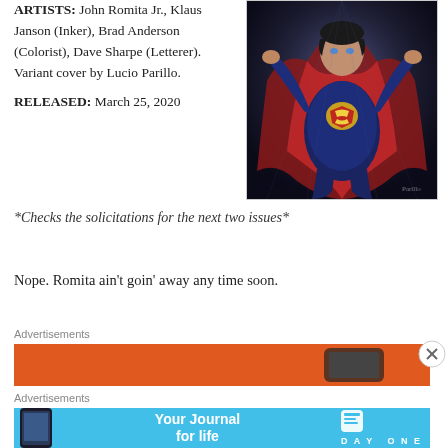ARTISTS: John Romita Jr., Klaus Janson (Inker), Brad Anderson (Colorist), Dave Sharpe (Letterer). Variant cover by Lucio Parillo.
RELEASED: March 25, 2020
[Figure (illustration): Comic book cover art showing Superman in a dark blue suit with red cape, posed dramatically with arms raised, against a dark background with the S-shield visible on his chest.]
*Checks the solicitations for the next two issues*
Nope. Romita ain't goin' away any time soon.
Advertisements
[Figure (screenshot): Orange advertisement banner, partially visible.]
Advertisements
[Figure (screenshot): Blue advertisement banner for Day One app - Your Journal for life, showing a phone mockup on the left and Day One logo/text on the right.]